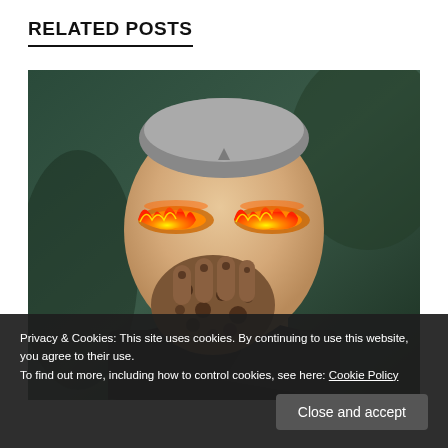RELATED POSTS
[Figure (illustration): Digital art illustration of a futuristic humanoid figure with flaming eyes, wearing a black suit with white collar, holding a leopard-print gloved hand to their mouth, against a dark green background.]
Privacy & Cookies: This site uses cookies. By continuing to use this website, you agree to their use.
To find out more, including how to control cookies, see here: Cookie Policy
Close and accept